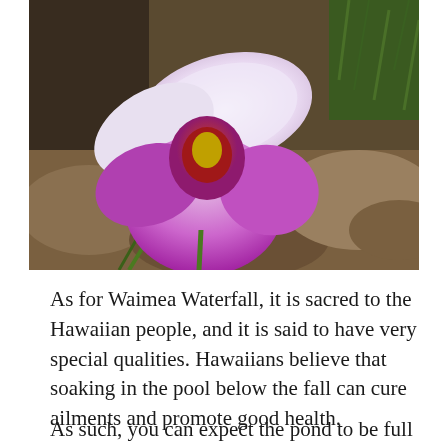[Figure (photo): Close-up photo of a purple and white orchid flower with a dark magenta center, set against a blurred rocky and grassy background in natural light.]
As for Waimea Waterfall, it is sacred to the Hawaiian people, and it is said to have very special qualities. Hawaiians believe that soaking in the pool below the fall can cure ailments and promote good health.
As such, you can expect the pond to be full of